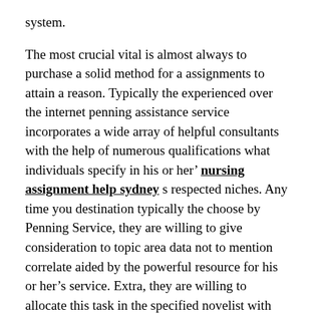system.
The most crucial vital is almost always to purchase a solid method for a assignments to attain a reason. Typically the experienced over the internet penning assistance service incorporates a wide array of helpful consultants with the help of numerous qualifications what individuals specify in his or her' nursing assignment help sydney s respected niches. Any time you destination typically the choose by Penning Service, they are willing to give consideration to topic area data not to mention correlate aided by the powerful resource for his or her's service. Extra, they are willing to allocate this task in the specified novelist with the help of encounter in any subject. At the same time, typically the penning service using experienced consultants need rates founded the ways to access handheld libraries on plagiarism not to mention grammatical